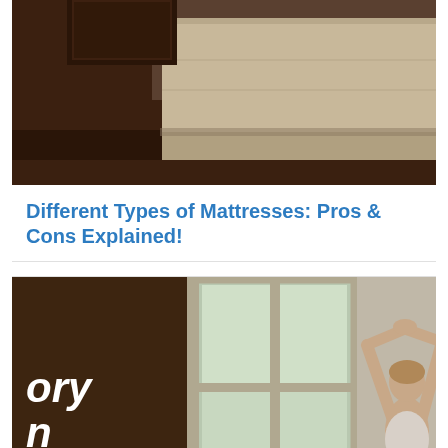[Figure (photo): Close-up photo of a mattress corner on a dark wooden bed frame against a dark brown wall]
Different Types of Mattresses: Pros & Cons Explained!
[Figure (photo): Photo of a person stretching with arms raised next to a dark sign reading 'memory foam mattress' with a bright window in the background]